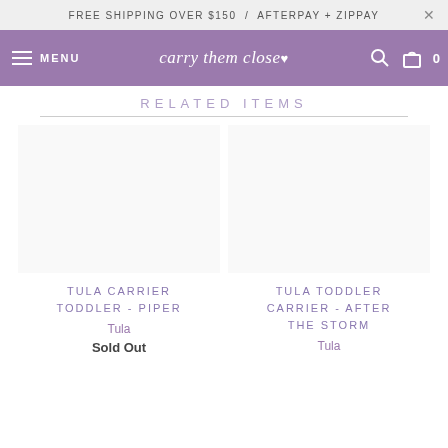FREE SHIPPING OVER $150 / AFTERPAY + ZIPPAY
carry them close — MENU, search, cart (0)
RELATED ITEMS
TULA CARRIER TODDLER - PIPER
Tula
Sold Out
TULA TODDLER CARRIER - AFTER THE STORM
Tula